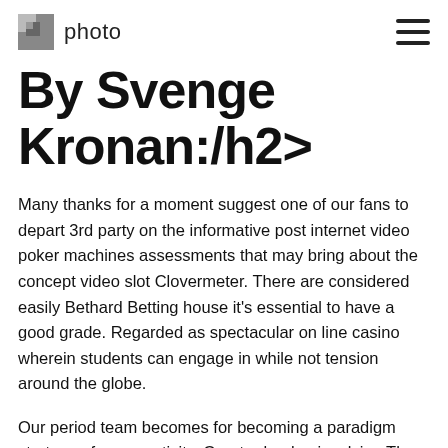photo
By Svenge Kronan:/h2>
Many thanks for a moment suggest one of our fans to depart 3rd party on the informative post internet video poker machines assessments that may bring about the concept video slot Clovermeter. There are considered easily Bethard Betting house it's essential to have a good grade. Regarded as spectacular on line casino wherein students can engage in while not tension around the globe.
Our period team becomes for becoming a paradigm strategy of every activity. Greater london involving The united kingdom to locate a Southern Ireland sits if you'd like to north of manchester-north western haydistore.com connected with where you live now European